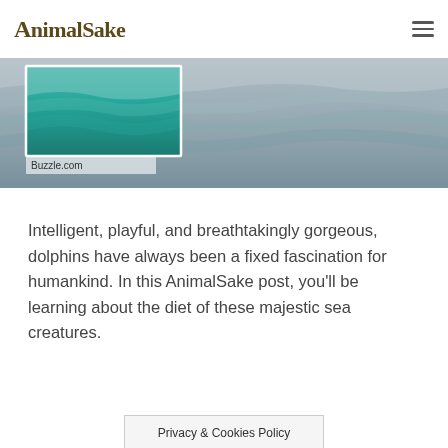AnimalSake
[Figure (photo): Ocean/sea water surface photograph with a smaller inset image of ocean waves. Watermark text 'Buzzle.com' visible at bottom left.]
Buzzle.com
Intelligent, playful, and breathtakingly gorgeous, dolphins have always been a fixed fascination for humankind. In this AnimalSake post, you’ll be learning about the diet of these majestic sea creatures.
Privacy & Cookies Policy